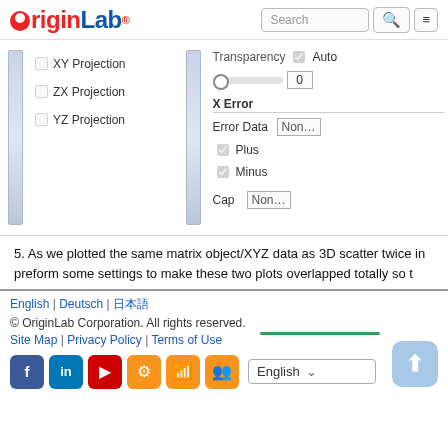OriginLab [Search] [Menu]
[Figure (screenshot): Screenshot of a 3D plot settings dialog showing XY Projection, ZX Projection, YZ Projection checkboxes on the left panel and Transparency/Auto, X Error, Error Data/None, Plus, Minus, Cap/None settings on the right panel]
5. As we plotted the same matrix object/XYZ data as 3D scatter twice in... preform some settings to make these two plots overlapped totally so t...
English | Deutsch | 日本語
© OriginLab Corporation. All rights reserved.
Site Map | Privacy Policy | Terms of Use
English ▾ [social icons] [up button]